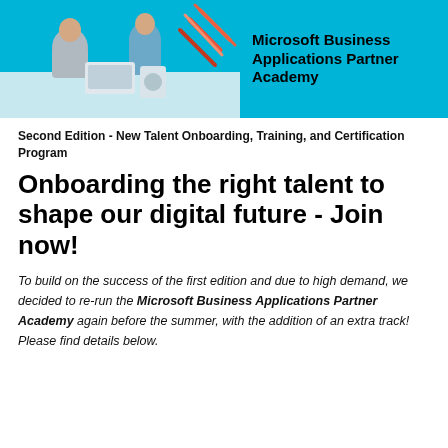[Figure (photo): Banner image showing two people working at a table with laptops and devices, on a cyan/teal background. Right side shows text: Microsoft Business Applications Partner Academy.]
Second Edition - New Talent Onboarding, Training, and Certification Program
Onboarding the right talent to shape our digital future - Join now!
To build on the success of the first edition and due to high demand, we decided to re-run the Microsoft Business Applications Partner Academy again before the summer, with the addition of an extra track! Please find details below.